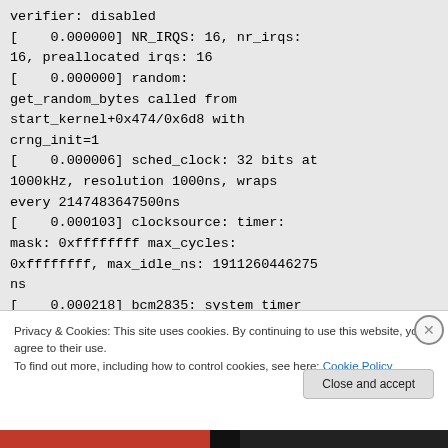verifier: disabled
[    0.000000] NR_IRQS: 16, nr_irqs: 16, preallocated irqs: 16
[    0.000000] random: get_random_bytes called from start_kernel+0x474/0x6d8 with crng_init=1
[    0.000006] sched_clock: 32 bits at 1000kHz, resolution 1000ns, wraps every 2147483647500ns
[    0.000103] clocksource: timer: mask: 0xffffffff max_cycles: 0xffffffff, max_idle_ns: 1911260446275ns
[    0.000218] bcm2835: system timer (irq = 27)
[    0.001053] Console: colour dummy
Privacy & Cookies: This site uses cookies. By continuing to use this website, you agree to their use.
To find out more, including how to control cookies, see here: Cookie Policy